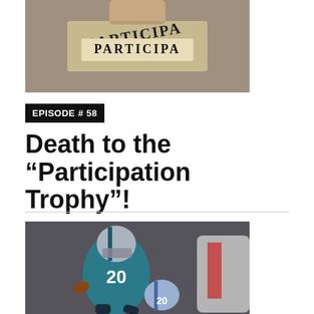[Figure (photo): Close-up of a hand holding a participation trophy or ribbon with the word PARTICIPA visible on a beige label]
EPISODE # 58
Death to the “Participation Trophy”!
[Figure (photo): Action photo of a football player wearing jersey number 20 in a teal Detroit Lions uniform running with the ball, with other players around him]